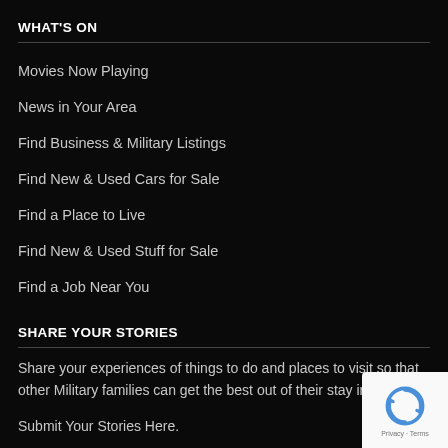WHAT'S ON
Movies Now Playing
News in Your Area
Find Business & Military Listings
Find New & Used Cars for Sale
Find a Place to Live
Find New & Used Stuff for Sale
Find a Job Near You
SHARE YOUR STORIES
Share your experiences of things to do and places to visit so that other Military families can get the best out of their stay in G…
Submit Your Stories Here.
[Figure (logo): Google reCAPTCHA badge with Privacy and Terms links]